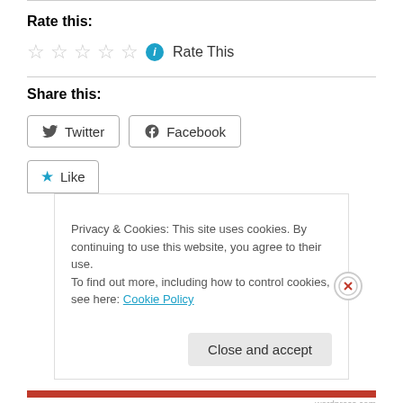Rate this:
★ ★ ★ ★ ★ ⓘ Rate This
Share this:
Twitter  Facebook
★ Like
Privacy & Cookies: This site uses cookies. By continuing to use this website, you agree to their use.
To find out more, including how to control cookies, see here: Cookie Policy
Close and accept